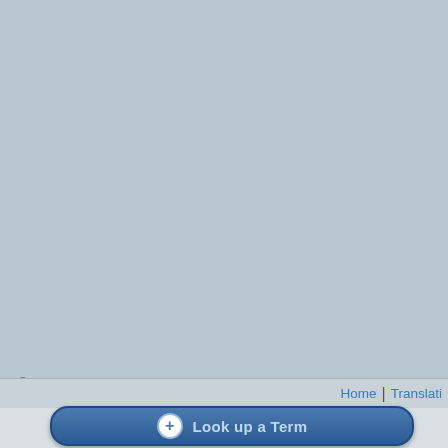origins in a long-lived CAG, for predicting that the current CAG ma Western Caribbean by late next we for a similar event to occur last we skeptically until the European and/o
Also see: How to make an evacuatio
Bob Henson contributed to this post
Printable Version  |  Link to this page
Comments:
There have been no comments p
You need to be logged in to pos you're new, register here.
© Copyright 2022 John Cook
Home | Translati
Look up a Term